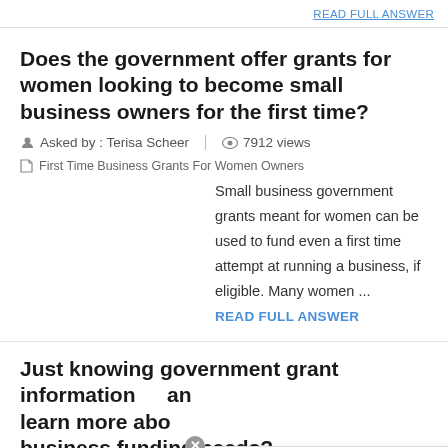READ FULL ANSWER
Does the government offer grants for women looking to become small business owners for the first time?
Asked by : Terisa Scheer   7912 views
First Time Business Grants For Women Owners
Small business government grants meant for women can be used to fund even a first time attempt at running a business, if eligible. Many women ... READ FULL ANSWER
Just knowing government grant information and learn more abo... business funding needs?
Have a Question? Let's Chat!